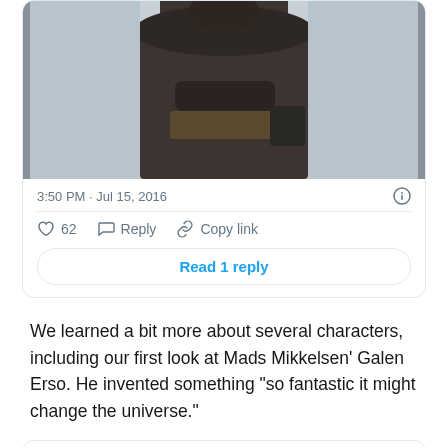[Figure (screenshot): Tweet card showing a photo of a person in dark robes (Mads Mikkelsen as Galen Erso), with timestamp 3:50 PM · Jul 15, 2016, 62 likes, Reply, Copy link actions, and a 'Read 1 reply' button.]
We learned a bit more about several characters, including our first look at Mads Mikkelsen’ Galen Erso. He invented something “so fantastic it might change the universe.”
[Figure (screenshot): Partial bottom tweet card showing a dark avatar circle on the left and Twitter bird logos.]